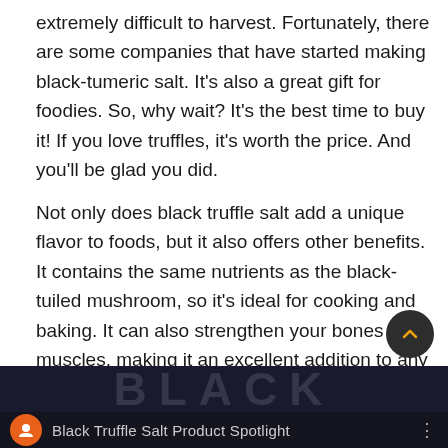extremely difficult to harvest. Fortunately, there are some companies that have started making black-tumeric salt. It's also a great gift for foodies. So, why wait? It's the best time to buy it! If you love truffles, it's worth the price. And you'll be glad you did.
Not only does black truffle salt add a unique flavor to foods, but it also offers other benefits. It contains the same nutrients as the black-tuiled mushroom, so it's ideal for cooking and baking. It can also strengthen your bones and muscles, making it an excellent addition to any meal. And, as a bonus, it has the added benefit of being a great source of calcium and potassium. So, you'll never have to worry about running out of this gourmet salt again.
[Figure (screenshot): Bottom strip showing a dark background with large 'BLACK' text and a video thumbnail bar with an orange icon circle and text 'Black Truffle Salt Product Spotlight']